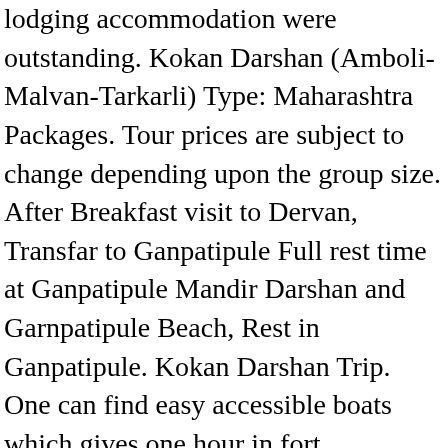lodging accommodation were outstanding. Kokan Darshan (Amboli-Malvan-Tarkarli) Type: Maharashtra Packages. Tour prices are subject to change depending upon the group size. After Breakfast visit to Dervan, Transfar to Ganpatipule Full rest time at Ganpatipule Mandir Darshan and Garnpatipule Beach, Rest in Ganpatipule. Kokan Darshan Trip. One can find easy accessible boats which gives one hour in fort. Copyright © 2018 Kokan Paryatan . On the first day of a fair local villagers house (Aangne) cook food in mass quantity and offer as Prasad to all devotees without the barrier of religion and status, this process is known as Tatt Lawane. Meals service during Air and Train Travels. The fort is spread over an area of 48 acres with fortified walls, 12 ft thick and 29 ft high, stretch for 2 miles. Best Sindhudurg Tour Packages With Prices It won't be